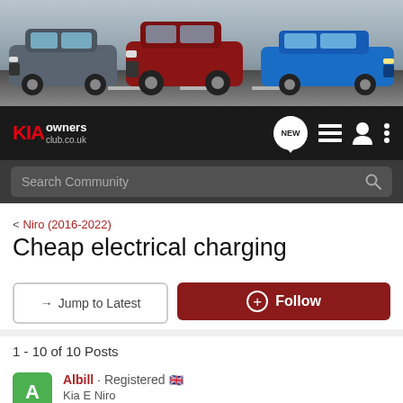[Figure (photo): KIA cars banner showing three cars (grey SUV, red SUV, blue hatchback) driving on a road with a golden top bar]
KIA owners club.co.uk navigation bar with NEW bubble, list icon, user icon, and menu icon
Search Community
< Niro (2016-2022)
Cheap electrical charging
→ Jump to Latest
+ Follow
1 - 10 of 10 Posts
Albill · Registered 🇬🇧
Kia E Niro